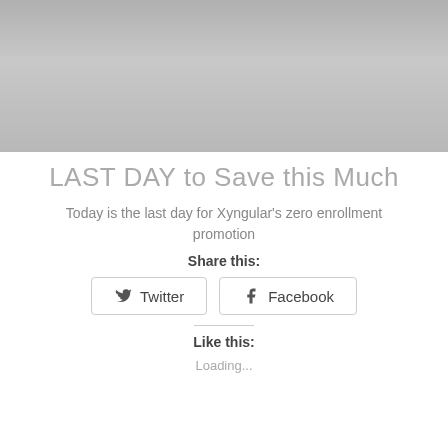[Figure (photo): Gray placeholder image area at the top of the page]
LAST DAY to Save this Much
Today is the last day for Xyngular’s zero enrollment promotion
Share this:
Twitter
Facebook
Like this:
Loading...